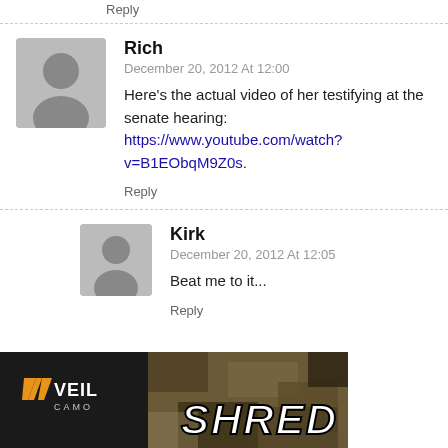Reply
Rich
December 20, 2012 At 12:00
Here's the actual video of her testifying at the senate hearing: https://www.youtube.com/watch?v=B1EObqM9Z0s.
Reply
Kirk
December 20, 2012 At 12:05
Beat me to it...
Reply
[Figure (photo): VEIL CAMO advertisement banner with logo and SHRED text over camouflage background]